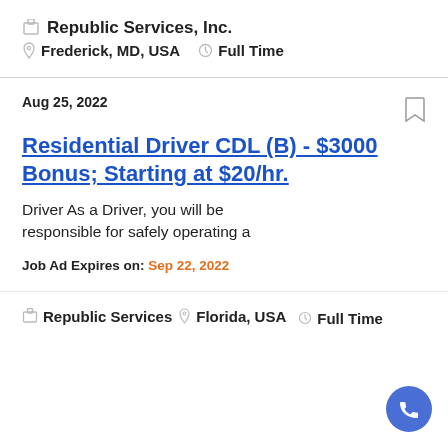Republic Services, Inc. | Frederick, MD, USA | Full Time
Aug 25, 2022
Residential Driver CDL (B) - $3000 Bonus; Starting at $20/hr.
Driver As a Driver, you will be responsible for safely operating a
Job Ad Expires on: Sep 22, 2022
Republic Services | Florida, USA | Full Time